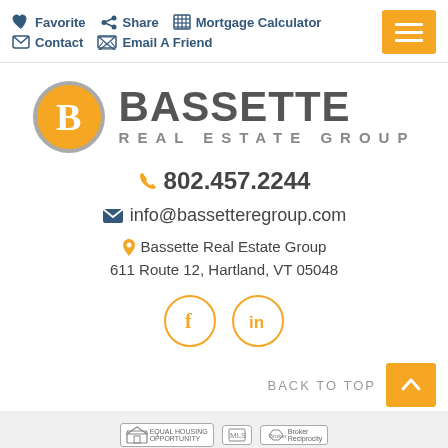Favorite  Share  Mortgage Calculator  Contact  Email A Friend
[Figure (logo): Bassette Real Estate Group logo — orange circle with white B, large gray BASSETTE text, smaller gray REAL ESTATE GROUP text]
802.457.2244
info@bassetteregroup.com
Bassette Real Estate Group
611 Route 12, Hartland, VT 05048
[Figure (illustration): Facebook and LinkedIn social media icon circles in orange outline]
BACK TO TOP
[Figure (illustration): Equal Housing, MLS, and Broker Reciprocity badges/logos]
PRIVACY POLICY